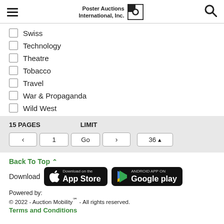Poster Auctions International, Inc.
Swiss
Technology
Theatre
Tobacco
Travel
War & Propaganda
Wild West
15 PAGES   LIMIT   < 1 Go > 36
Back To Top
Download
[Figure (logo): Download on the App Store button]
[Figure (logo): Android App on Google Play button]
Powered by:
© 2022 - Auction Mobility℠ - All rights reserved.
Terms and Conditions